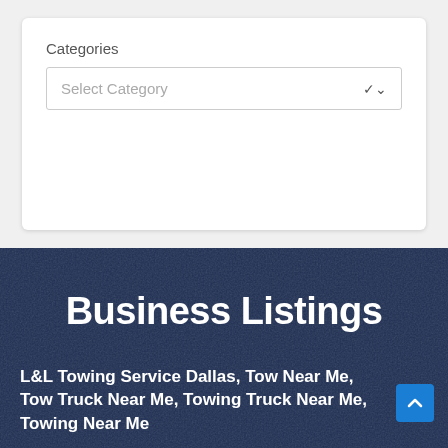Categories
Select Category
Business Listings
L&L Towing Service Dallas, Tow Near Me, Tow Truck Near Me, Towing Truck Near Me, Towing Near Me